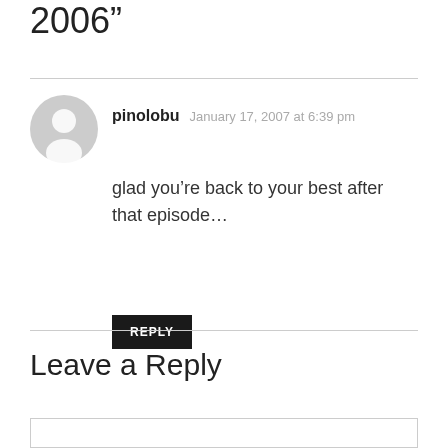2006”
pinolobu   January 17, 2007 at 6:39 pm
glad you’re back to your best after that episode…
REPLY
Leave a Reply